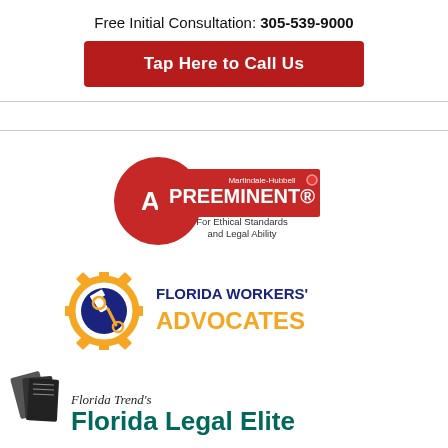Free Initial Consultation: 305-539-9000
Tap Here to Call Us
[Figure (logo): AV Preeminent Martindale-Hubbell badge for ethical standards and legal ability]
[Figure (logo): Florida Workers' Advocates logo with gear and tools icon]
[Figure (logo): Florida Trend's Florida Legal Elite logo with books]